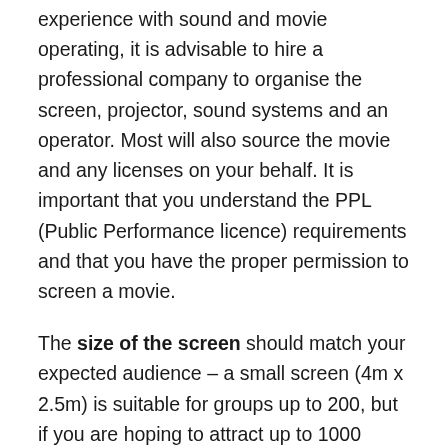experience with sound and movie operating, it is advisable to hire a professional company to organise the screen, projector, sound systems and an operator. Most will also source the movie and any licenses on your behalf. It is important that you understand the PPL (Public Performance licence) requirements and that you have the proper permission to screen a movie.
The size of the screen should match your expected audience – a small screen (4m x 2.5m) is suitable for groups up to 200, but if you are hoping to attract up to 1000 guests, then you will need a much larger (and costlier) screen of 8m x 5m.